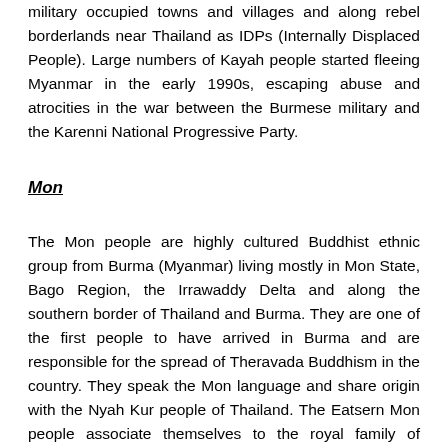military occupied towns and villages and along rebel borderlands near Thailand as IDPs (Internally Displaced People). Large numbers of Kayah people started fleeing Myanmar in the early 1990s, escaping abuse and atrocities in the war between the Burmese military and the Karenni National Progressive Party.
Mon
The Mon people are highly cultured Buddhist ethnic group from Burma (Myanmar) living mostly in Mon State, Bago Region, the Irrawaddy Delta and along the southern border of Thailand and Burma. They are one of the first people to have arrived in Burma and are responsible for the spread of Theravada Buddhism in the country. They speak the Mon language and share origin with the Nyah Kur people of Thailand. The Eatsern Mon people associate themselves to the royal family of Thailand and keep their Mon heritage alive. The western Mom people have be absorbed by the Burmese and Integhten the rate of data...